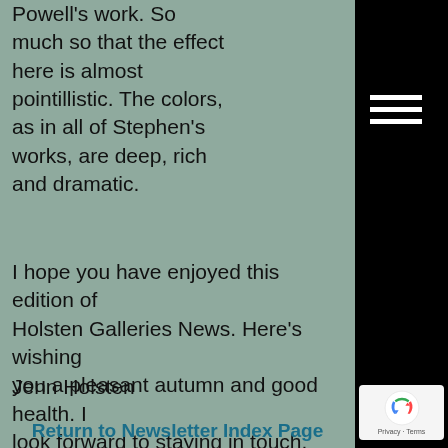Powell's work. So much so that the effect here is almost pointillistic. The colors, as in all of Stephen's works, are deep, rich and dramatic.
I hope you have enjoyed this edition of Holsten Galleries News. Here's wishing you a pleasant autumn and good health. I look forward to staying in touch.
Jenn Holsten
Return to Newsletter Index Page